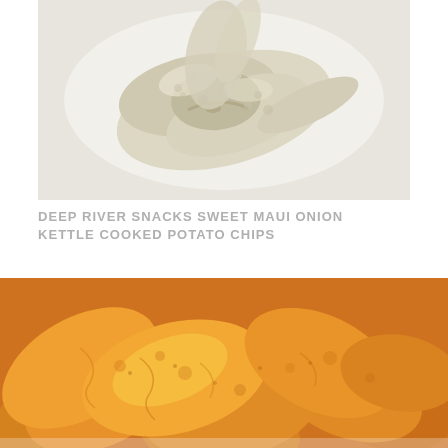[Figure (photo): Close-up photo of a pale/cream-colored kettle-cooked potato chip twisted/curved on a white background]
DEEP RIVER SNACKS SWEET MAUI ONION KETTLE COOKED POTATO CHIPS
[Figure (photo): Close-up photo of orange/golden kettle-cooked potato chips piled together]